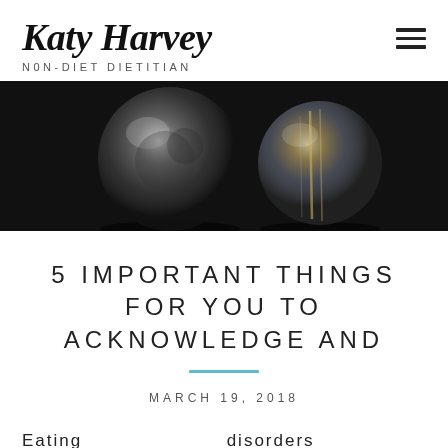Katy Harvey NON-DIET DIETITIAN
[Figure (photo): Dark background with two reflective crystal glass balls, one showing a distorted reflection of a room or window scene]
5 IMPORTANT THINGS FOR YOU TO ACKNOWLEDGE AND
MARCH 19, 2018
Eating disorders professionals are